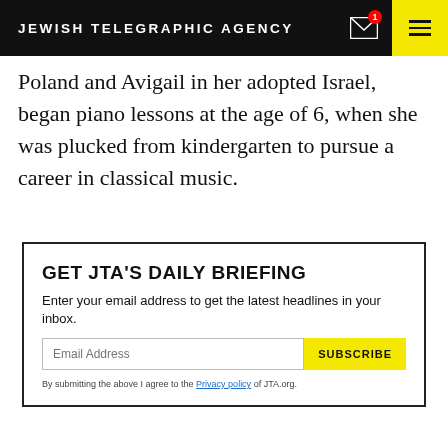JEWISH TELEGRAPHIC AGENCY
Poland and Avigail in her adopted Israel, began piano lessons at the age of 6, when she was plucked from kindergarten to pursue a career in classical music.
GET JTA'S DAILY BRIEFING
Enter your email address to get the latest headlines in your inbox.
By submitting the above I agree to the Privacy policy of JTA.org.